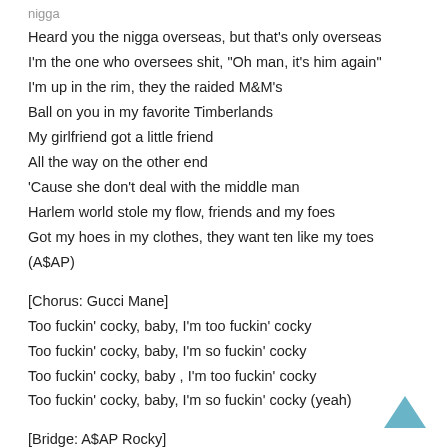nigga
Heard you the nigga overseas, but that's only overseas
I'm the one who oversees shit, "Oh man, it's him again"
I'm up in the rim, they the raided M&M's
Ball on you in my favorite Timberlands
My girlfriend got a little friend
All the way on the other end
'Cause she don't deal with the middle man
Harlem world stole my flow, friends and my foes
Got my hoes in my clothes, they want ten like my toes
(A$AP)
[Chorus: Gucci Mane]
Too fuckin' cocky, baby, I'm too fuckin' cocky
Too fuckin' cocky, baby, I'm so fuckin' cocky
Too fuckin' cocky, baby , I'm too fuckin' cocky
Too fuckin' cocky, baby, I'm so fuckin' cocky (yeah)
[Bridge: A$AP Rocky]
Just pass me the rock and watch him go
Just run me the play and let me know